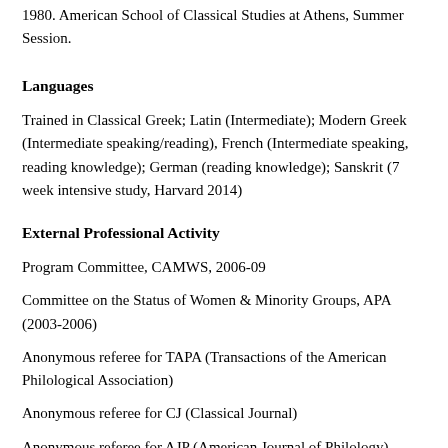1980. American School of Classical Studies at Athens, Summer Session.
Languages
Trained in Classical Greek; Latin (Intermediate); Modern Greek (Intermediate speaking/reading), French (Intermediate speaking, reading knowledge); German (reading knowledge); Sanskrit (7 week intensive study, Harvard 2014)
External Professional Activity
Program Committee, CAMWS, 2006-09
Committee on the Status of Women & Minority Groups, APA (2003-2006)
Anonymous referee for TAPA (Transactions of the American Philological Association)
Anonymous referee for CJ (Classical Journal)
Anonymous referee for AJP (American Journal of Philology)